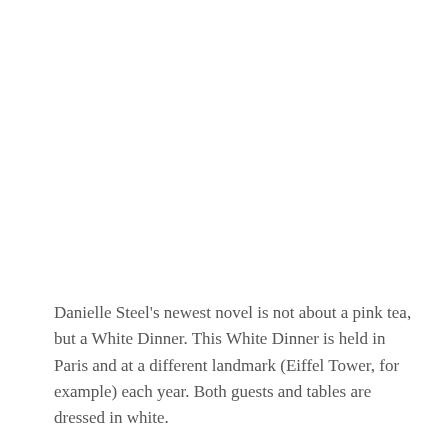Danielle Steel's newest novel is not about a pink tea, but a White Dinner. This White Dinner is held in Paris and at a different landmark (Eiffel Tower, for example) each year. Both guests and tables are dressed in white.